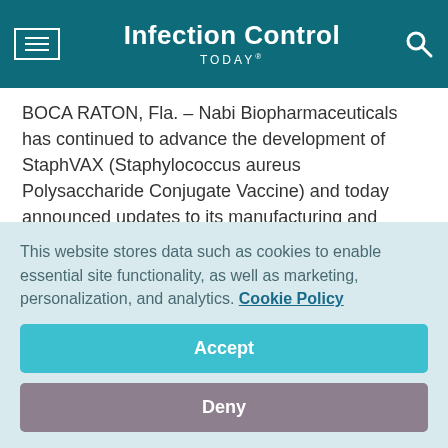Infection Control TODAY®
BOCA RATON, Fla. – Nabi Biopharmaceuticals has continued to advance the development of StaphVAX (Staphylococcus aureus Polysaccharide Conjugate Vaccine) and today announced updates to its manufacturing and clinical trial plans. Currently in a confirmatory Phase III clinical trial, StaphVAX is the company's investigational vaccine that is designed to prevent Staphylococcus aureus blood stream infections.
This website stores data such as cookies to enable essential site functionality, as well as marketing, personalization, and analytics. Cookie Policy
Accept
Deny